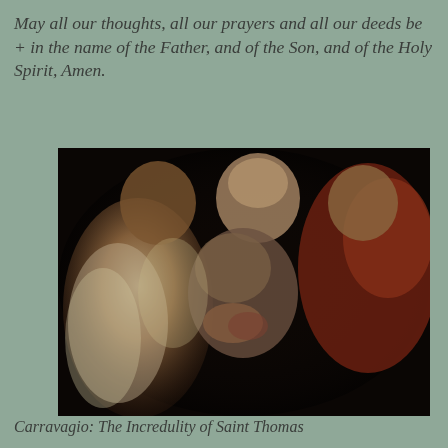May all our thoughts, all our prayers and all our deeds be + in the name of the Father, and of the Son, and of the Holy Spirit, Amen.
[Figure (illustration): Caravaggio's painting 'The Incredulity of Saint Thomas' showing Jesus guiding Thomas's finger into his wound while two other apostles look on. Dark chiaroscuro style with figures emerging from a very dark background.]
Carravagio: The Incredulity of Saint Thomas